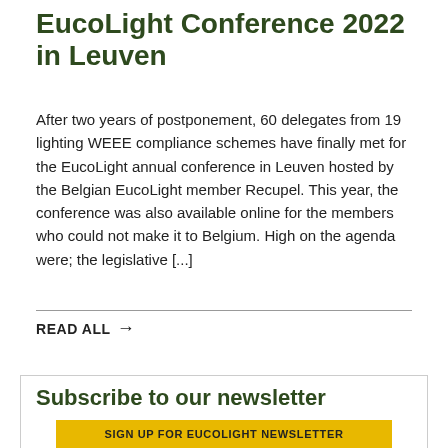EucoLight Conference 2022 in Leuven
After two years of postponement, 60 delegates from 19 lighting WEEE compliance schemes have finally met for the EucoLight annual conference in Leuven hosted by the Belgian EucoLight member Recupel. This year, the conference was also available online for the members who could not make it to Belgium. High on the agenda were; the legislative [...]
READ ALL →
Subscribe to our newsletter
SIGN UP FOR EUCOLIGHT NEWSLETTER